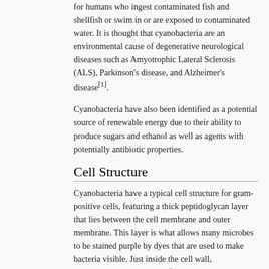for humans who ingest contaminated fish and shellfish or swim in or are exposed to contaminated water. It is thought that cyanobacteria are an environmental cause of degenerative neurological diseases such as Amyotrophic Lateral Sclerosis (ALS), Parkinson's disease, and Alzheimer's disease[1].
Cyanobacteria have also been identified as a potential source of renewable energy due to their ability to produce sugars and ethanol as well as agents with potentially antibiotic properties.
Cell Structure
Cyanobacteria have a typical cell structure for gram-positive cells, featuring a thick peptidoglycan layer that lies between the cell membrane and outer membrane. This layer is what allows many microbes to be stained purple by dyes that are used to make bacteria visible. Just inside the cell wall, cyanobacteria have layers of thylakoids, which are